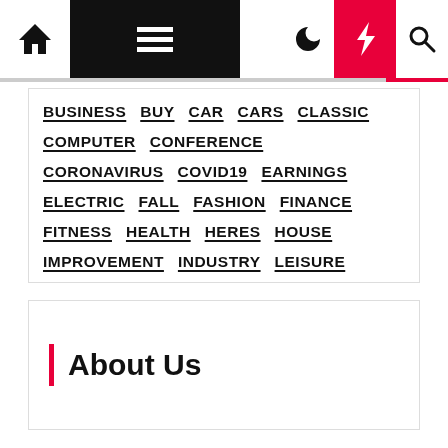Navigation bar with home, menu, moon, bolt, search icons
BUSINESS BUY CAR CARS CLASSIC COMPUTER CONFERENCE CORONAVIRUS COVID19 EARNINGS ELECTRIC FALL FASHION FINANCE FITNESS HEALTH HERES HOUSE IMPROVEMENT INDUSTRY LEISURE MARKET MODIFIED MONEY ONLINE PANDEMIC POLICE REOPENING SALES SCHOOL SCHOOLS SUMMER TECHNOLOGY TOP TRANSPORTATION TRAVEL VIDEO WAYS WORLD YEAR
About Us